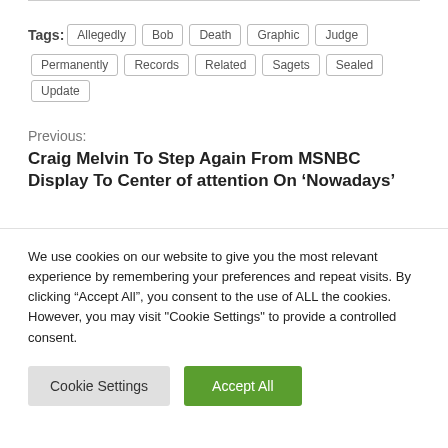Tags: Allegedly Bob Death Graphic Judge Permanently Records Related Sagets Sealed Update
Previous:
Craig Melvin To Step Again From MSNBC Display To Center of attention On ‘Nowadays’
Next:
‘How I Met Your Father’ Creators Damage Down Season 1 Finale Surprises & Percentage Plans For
We use cookies on our website to give you the most relevant experience by remembering your preferences and repeat visits. By clicking “Accept All”, you consent to the use of ALL the cookies. However, you may visit "Cookie Settings" to provide a controlled consent.
Cookie Settings  Accept All